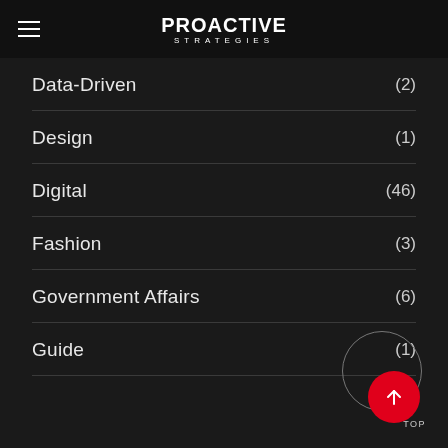PROACTIVE STRATEGIES
Data-Driven (2)
Design (1)
Digital (46)
Fashion (3)
Government Affairs (6)
Guide (1)
Inspiration (2)